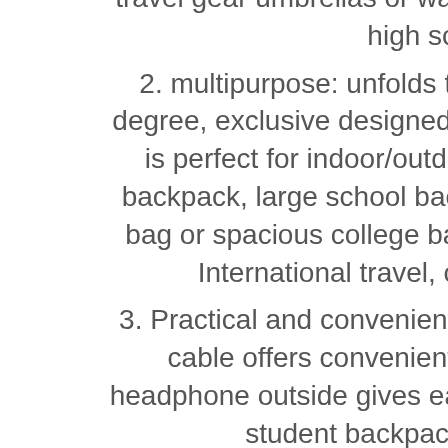large storage and organization for small items. 3 spacious main multi compartments with many hidden pockets can accommodate lots of stuffs like college supplies, travel accessories, clothes, stationery, notebook, cord organizer, side deep Zipper pocket for Easy access essentials, side Elastic net pockets conveniently hold travel gear umbrellas or water bottles. Ideal Book bag backpack for high school Boys perfectly
2. multipurpose: unfolds the extra large backpack freely 90-180 degree, exclusive designed for airplane traveling. The big backpack is perfect for indoor/outdoor activities. Served as durable large backpack, large school backpack for Teen Boys/Girls, large laptop bag or spacious college backpack, you can use it at anywhere for International travel, camping, hiking and overnight trip
3. Practical and convenient: external USB port with set-in charging cable offers convenient charging your cellphone. A hole for headphone outside gives easy access to Earphone usage. Also, the student backpack with a sturdy rugged handle